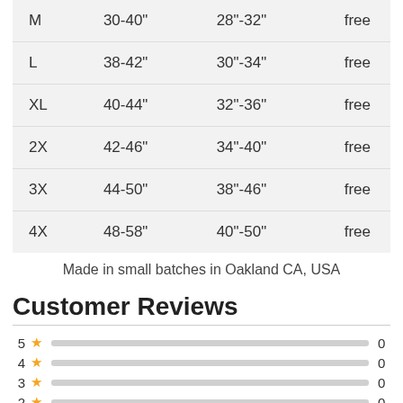| Size | Chest | Waist/Hip | Shipping |
| --- | --- | --- | --- |
| M | 30-40" | 28"-32" | free |
| L | 38-42" | 30"-34" | free |
| XL | 40-44" | 32"-36" | free |
| 2X | 42-46" | 34"-40" | free |
| 3X | 44-50" | 38"-46" | free |
| 4X | 48-58" | 40"-50" | free |
Made in small batches in Oakland CA, USA
Customer Reviews
[Figure (bar-chart): Customer Reviews Rating Distribution]